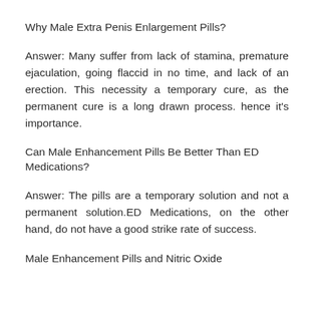Why Male Extra Penis Enlargement Pills?
Answer: Many suffer from lack of stamina, premature ejaculation, going flaccid in no time, and lack of an erection. This necessity a temporary cure, as the permanent cure is a long drawn process. hence it's importance.
Can Male Enhancement Pills Be Better Than ED Medications?
Answer: The pills are a temporary solution and not a permanent solution.ED Medications, on the other hand, do not have a good strike rate of success.
Male Enhancement Pills and Nitric Oxide